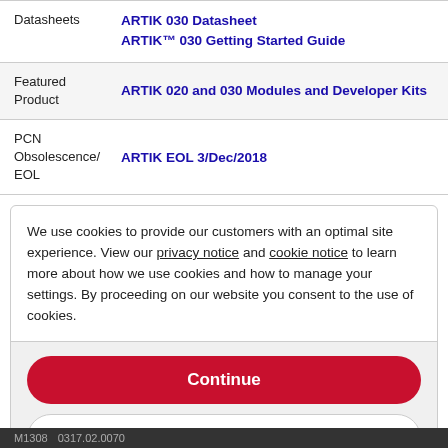| Label | Value |
| --- | --- |
| Datasheets | ARTIK 030 Datasheet
ARTIK™ 030 Getting Started Guide |
| Featured Product | ARTIK 020 and 030 Modules and Developer Kits |
| PCN Obsolescence/ EOL | ARTIK EOL 3/Dec/2018 |
We use cookies to provide our customers with an optimal site experience. View our privacy notice and cookie notice to learn more about how we use cookies and how to manage your settings. By proceeding on our website you consent to the use of cookies.
Continue
Exit
Privacy Notice
M1308  0317.02.0070